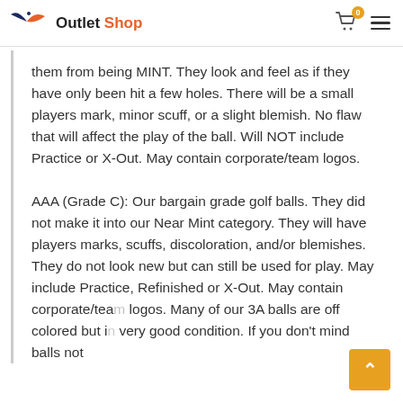Outlet Shop
them from being MINT. They look and feel as if they have only been hit a few holes. There will be a small players mark, minor scuff, or a slight blemish. No flaw that will affect the play of the ball. Will NOT include Practice or X-Out. May contain corporate/team logos.
AAA (Grade C): Our bargain grade golf balls. They did not make it into our Near Mint category. They will have players marks, scuffs, discoloration, and/or blemishes. They do not look new but can still be used for play. May include Practice, Refinished or X-Out. May contain corporate/team logos. Many of our 3A balls are off colored but in very good condition. If you don't mind balls not being bright white, this grade is a great deal.